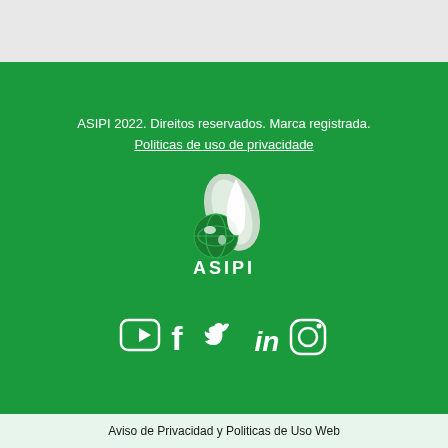ASIPI 2022. Direitos reservados. Marca registrada.
Politicas de uso de privacidade
[Figure (logo): ASIPI logo: a stylized globe and white abstract leaf/flame shape above the text ASIPI in white bold letters]
[Figure (infographic): Social media icons in white: YouTube, Facebook, Twitter, LinkedIn, Instagram]
Aviso de Privacidad y Politicas de Uso Web